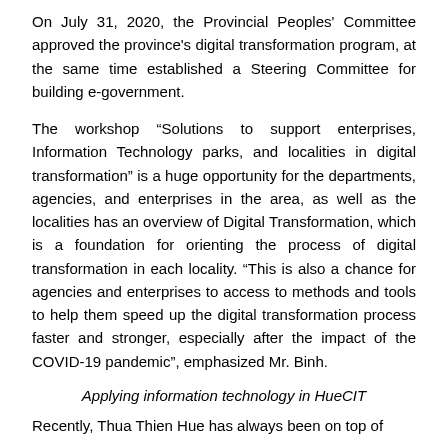On July 31, 2020, the Provincial Peoples' Committee approved the province's digital transformation program, at the same time established a Steering Committee for building e-government.
The workshop “Solutions to support enterprises, Information Technology parks, and localities in digital transformation” is a huge opportunity for the departments, agencies, and enterprises in the area, as well as the localities has an overview of Digital Transformation, which is a foundation for orienting the process of digital transformation in each locality. “This is also a chance for agencies and enterprises to access to methods and tools to help them speed up the digital transformation process faster and stronger, especially after the impact of the COVID-19 pandemic”, emphasized Mr. Binh.
Applying information technology in HueCIT
Recently, Thua Thien Hue has always been on top of